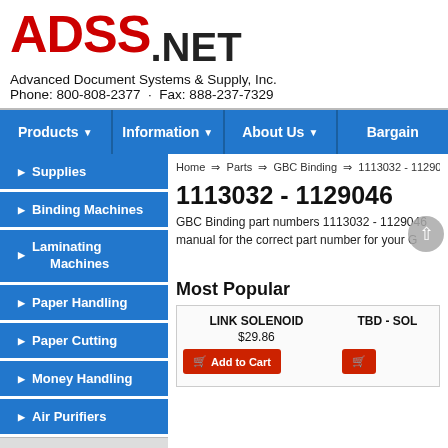[Figure (logo): ADSS.NET logo in red and black]
Advanced Document Systems & Supply, Inc.
Phone: 800-808-2377 · Fax: 888-237-7329
Products | Information | About Us | Bargain
Supplies
Binding Machines
Laminating Machines
Paper Handling
Paper Cutting
Money Handling
Air Purifiers
Parts
Home ⇒ Parts ⇒ GBC Binding ⇒ 1113032 - 1129046
1113032 - 1129046
GBC Binding part numbers 1113032 - 1129046 manual for the correct part number for your G
Most Popular
| Product | Price | Action |
| --- | --- | --- |
| LINK SOLENOID | $29.86 | Add to Cart |
| TBD - SOL |  | Add to Cart |